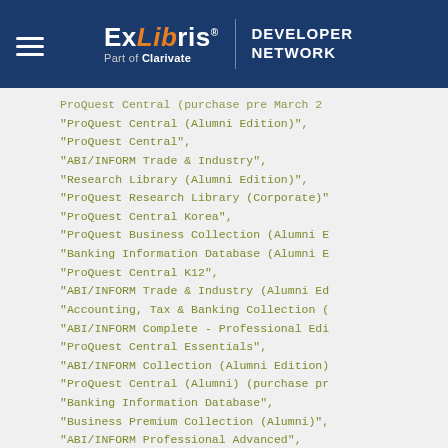ExLibris Part of Clarivate | DEVELOPER NETWORK
ProQuest Central (purchase pre March 2
"ProQuest Central (Alumni Edition)",
"ProQuest Central",
"ABI/INFORM Trade & Industry",
"Research Library (Alumni Edition)",
"ProQuest Research Library (Corporate)"
"ProQuest Central Korea",
"ProQuest Business Collection (Alumni E
"Banking Information Database (Alumni E
"ProQuest Central K12",
"ABI/INFORM Trade & Industry (Alumni Ed
"Accounting, Tax & Banking Collection (
"ABI/INFORM Complete - Professional Edi
"ProQuest Central Essentials",
"ABI/INFORM Collection (Alumni Edition)
"ProQuest Central (Alumni) (purchase pr
"Banking Information Database",
"Business Premium Collection (Alumni)",
"ABI/INFORM Professional Advanced",
"ABI/INFORM Collection",
"ProQuest Central (Corporate)"